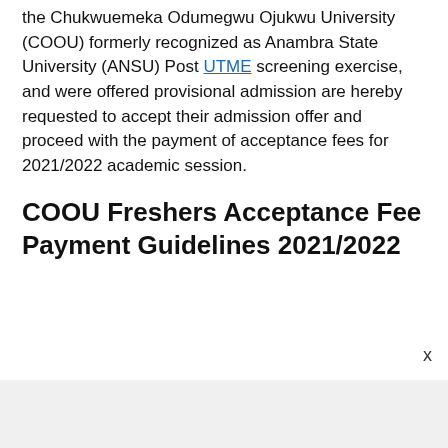the Chukwuemeka Odumegwu Ojukwu University (COOU) formerly recognized as Anambra State University (ANSU) Post UTME screening exercise, and were offered provisional admission are hereby requested to accept their admission offer and proceed with the payment of acceptance fees for 2021/2022 academic session.
COOU Freshers Acceptance Fee Payment Guidelines 2021/2022